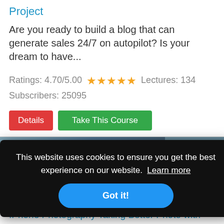Project
Are you ready to build a blog that can generate sales 24/7 on autopilot?  Is your dream to have...
Ratings: 4.70/5.00  ★★★★★  Lectures: 134  Subscribers: 25095
Details  Take This Course
[Figure (photo): Partial photo of a person, cropped at mid-section of the page]
This website uses cookies to ensure you get the best experience on our website. Learn more
Got it!
IPhone Photography Taking Better Photo with